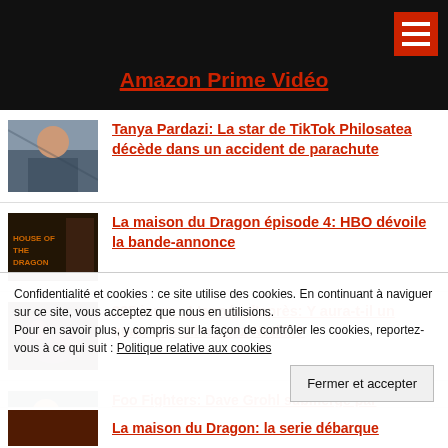Amazon Prime Vidéo
Tanya Pardazi: La star de TikTok Philosatea décède dans un accident de parachute
La maison du Dragon épisode 4: HBO dévoile la bande-annonce
365 jours : L'année d'après: Y aura-t-il un quatrième film chez Netflix?
Foo Fighters: Dave Grohl submergé par
Confidentialité et cookies : ce site utilise des cookies. En continuant à naviguer sur ce site, vous acceptez que nous en utilisions. Pour en savoir plus, y compris sur la façon de contrôler les cookies, reportez-vous à ce qui suit : Politique relative aux cookies
Fermer et accepter
La maison du Dragon: la serie débarque